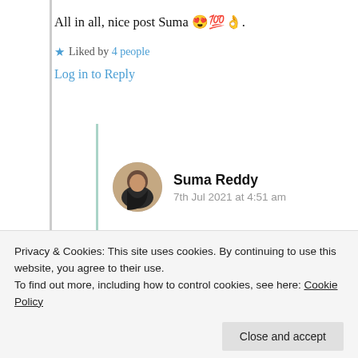All in all, nice post Suma 😍💯👌.
★ Liked by 4 people
Log in to Reply
[Figure (photo): Circular avatar photo of Suma Reddy]
Suma Reddy
7th Jul 2021 at 4:51 am
You are absolutely right, thank you
Privacy & Cookies: This site uses cookies. By continuing to use this website, you agree to their use.
To find out more, including how to control cookies, see here: Cookie Policy
Log in to Reply